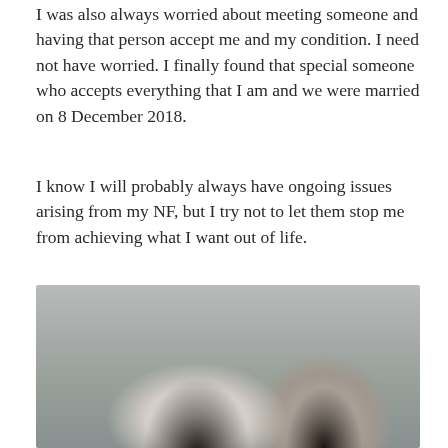I was also always worried about meeting someone and having that person accept me and my condition. I need not have worried. I finally found that special someone who accepts everything that I am and we were married on 8 December 2018.
I know I will probably always have ongoing issues arising from my NF, but I try not to let them stop me from achieving what I want out of life.
It feels great to see what I have accomplished considering NF typically comes with learning difficulties. It can be challenging, but I try my hardest not to give up, even though sometimes I want to.
[Figure (photo): A wedding photo showing a bride and groom from behind/side. The bride is wearing a veil and the groom has dark hair. They appear to be outdoors in natural light.]